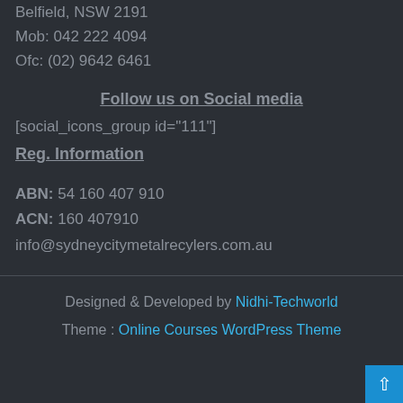Belfield, NSW 2191
Mob: 042 222 4094
Ofc: (02) 9642 6461
Follow us on Social media
[social_icons_group id="111"]
Reg. Information
ABN: 54 160 407 910
ACN: 160 407910
info@sydneycitymetalrecylers.com.au
Designed & Developed by Nidhi-Techworld
Theme : Online Courses WordPress Theme